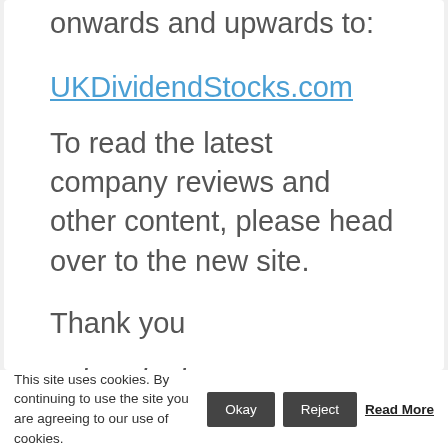onwards and upwards to:
UKDividendStocks.com
To read the latest company reviews and other content, please head over to the new site.
Thank you
John Kingham
This site uses cookies. By continuing to use the site you are agreeing to our use of cookies. Okay Reject Read More